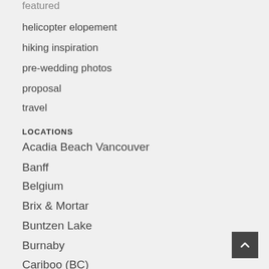featured
helicopter elopement
hiking inspiration
pre-wedding photos
proposal
travel
LOCATIONS
Acadia Beach Vancouver
Banff
Belgium
Brix & Mortar
Buntzen Lake
Burnaby
Cariboo (BC)
Cecil Green Park House
Chilliwack